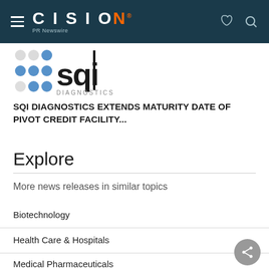CISION PR Newswire
[Figure (logo): SQI Diagnostics logo with blue dot grid and stylized 'sqi' text with DIAGNOSTICS below]
SQI DIAGNOSTICS EXTENDS MATURITY DATE OF PIVOT CREDIT FACILITY...
Explore
More news releases in similar topics
Biotechnology
Health Care & Hospitals
Medical Pharmaceuticals